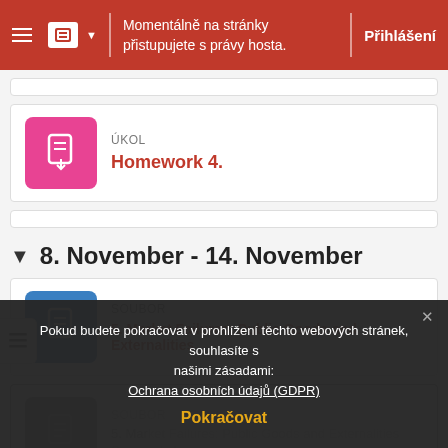Momentálně na stránky přistupujete s právy hosta. Přihlášení
ÚKOL
Homework 4.
8. November - 14. November
SOUBOR
5. Market Failures: Public Goods and Externalities
Pokud budete pokračovat v prohlížení těchto webových stránek, souhlasíte s našimi zásadami: Ochrana osobních údajů (GDPR)
Pokračovat